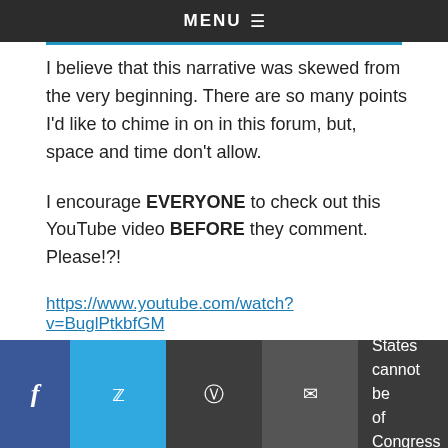MENU
I believe that this narrative was skewed from the very beginning. There are so many points I'd like to chime in on in this forum, but, space and time don't allow.
I encourage EVERYONE to check out this YouTube video BEFORE they comment. Please!?!
https://www.youtube.com/watch?v=BuglPtkbfGM
I'll summarize my points for brevity's sake:
United States cannot be of Congress due to